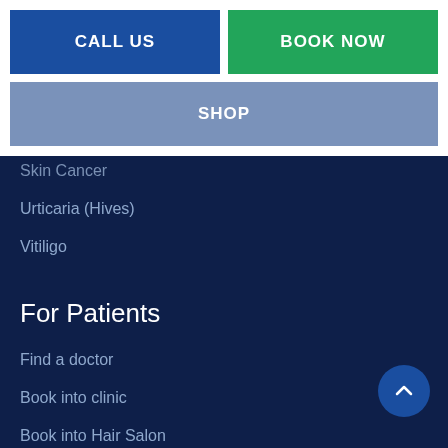CALL US
BOOK NOW
SHOP
Skin Cancer
Urticaria (Hives)
Vitiligo
For Patients
Find a doctor
Book into clinic
Book into Hair Salon